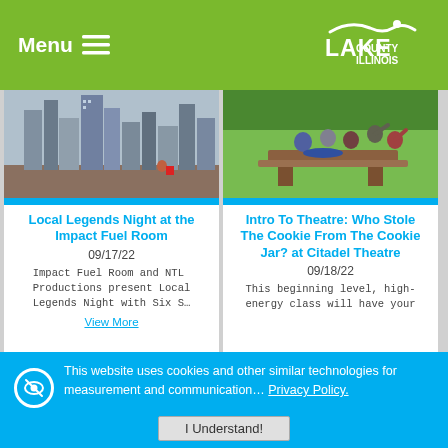Menu  Lake County Illinois
[Figure (photo): City skyline with tall buildings near waterfront, person sitting on ledge]
[Figure (photo): Group of people at a picnic table outdoors in a green field]
Local Legends Night at the Impact Fuel Room
09/17/22
Impact Fuel Room and NTL Productions present Local Legends Night with Six S…
View More
Intro To Theatre: Who Stole The Cookie From The Cookie Jar? at Citadel Theatre
09/18/22
This beginning level, high-energy class will have your
This website uses cookies and other similar technologies for measurement and communication… Privacy Policy.
I Understand!